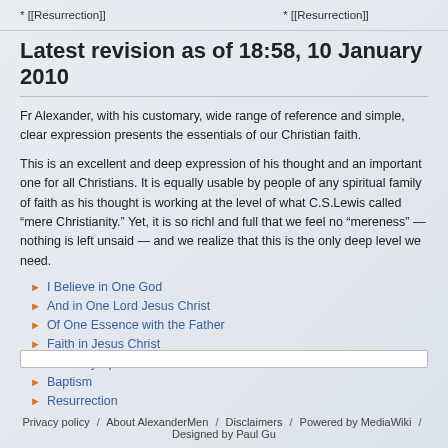* [[Resurrection]]    * [[Resurrection]]
Latest revision as of 18:58, 10 January 2010
Fr Alexander, with his customary, wide range of reference and simple, clear expression presents the essentials of our Christian faith.
This is an excellent and deep expression of his thought and an important one for all Christians. It is equally usable by people of any spiritual family of faith as his thought is working at the level of what C.S.Lewis called “mere Christianity.” Yet, it is so richl and full that we feel no “mereness” — nothing is left unsaid — and we realize that this is the only deep level we need.
I Believe in One God
And in One Lord Jesus Christ
Of One Essence with the Father
Faith in Jesus Christ
The Holy Spirit
Baptism
Resurrection
Privacy policy / About AlexanderMen / Disclaimers / Powered by MediaWiki / Designed by Paul Gu